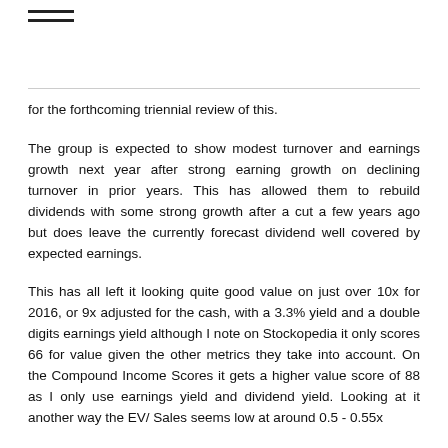≡
for the forthcoming triennial review of this.
The group is expected to show modest turnover and earnings growth next year after strong earning growth on declining turnover in prior years. This has allowed them to rebuild dividends with some strong growth after a cut a few years ago but does leave the currently forecast dividend well covered by expected earnings.
This has all left it looking quite good value on just over 10x for 2016, or 9x adjusted for the cash, with a 3.3% yield and a double digits earnings yield although I note on Stockopedia it only scores 66 for value given the other metrics they take into account. On the Compound Income Scores it gets a higher value score of 88 as I only use earnings yield and dividend yield. Looking at it another way the EV/ Sales seems low at around 0.5 - 0.55x